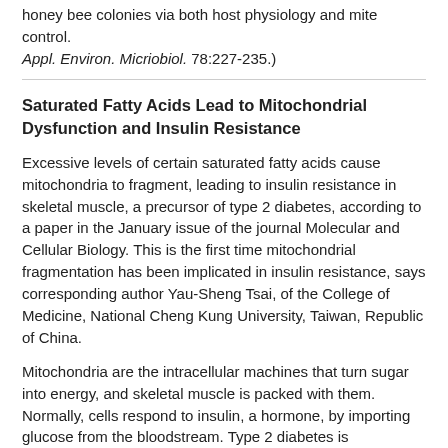honey bee colonies via both host physiology and mite control. Appl. Environ. Micriobiol. 78:227-235.)
Saturated Fatty Acids Lead to Mitochondrial Dysfunction and Insulin Resistance
Excessive levels of certain saturated fatty acids cause mitochondria to fragment, leading to insulin resistance in skeletal muscle, a precursor of type 2 diabetes, according to a paper in the January issue of the journal Molecular and Cellular Biology. This is the first time mitochondrial fragmentation has been implicated in insulin resistance, says corresponding author Yau-Sheng Tsai, of the College of Medicine, National Cheng Kung University, Taiwan, Republic of China.
Mitochondria are the intracellular machines that turn sugar into energy, and skeletal muscle is packed with them. Normally, cells respond to insulin, a hormone, by importing glucose from the bloodstream. Type 2 diabetes is characterized by insulin resistance, a cellular impairment in glucose uptake.